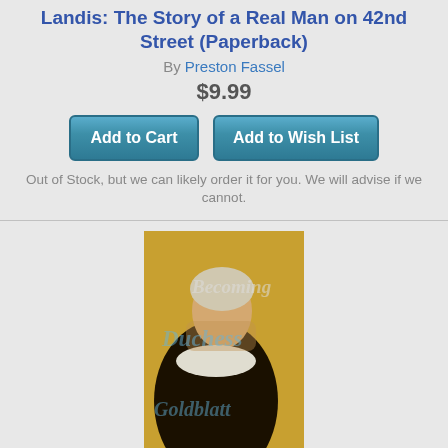Landis: The Story of a Real Man on 42nd Street (Paperback)
By Preston Fassel
$9.99
Add to Cart
Add to Wish List
Out of Stock, but we can likely order it for you. We will advise if we cannot.
[Figure (photo): Book cover for Becoming Duchess Goldblatt showing an elderly person in a historical portrait style painting with dark clothing and white collar, with the title text overlaid in italic script]
Becoming Duchess Goldblatt (Paperback)
By Anonymous
$15.99
Add to Cart
Add to Wish List